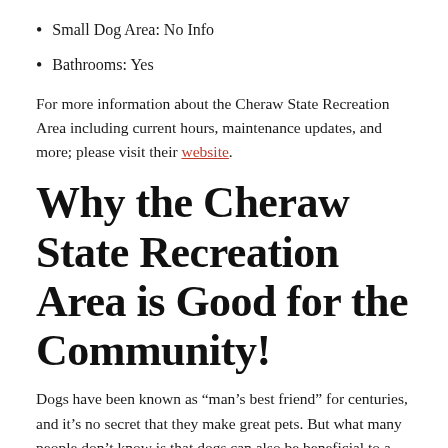Small Dog Area: No Info
Bathrooms: Yes
For more information about the Cheraw State Recreation Area including current hours, maintenance updates, and more; please visit their website.
Why the Cheraw State Recreation Area is Good for the Community!
Dogs have been known as “man’s best friend” for centuries, and it’s no secret that they make great pets. But what many people don’t know is that dogs can also be beneficial to a community in several ways.